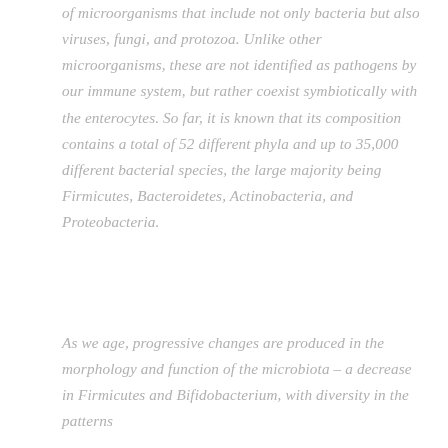of microorganisms that include not only bacteria but also viruses, fungi, and protozoa. Unlike other microorganisms, these are not identified as pathogens by our immune system, but rather coexist symbiotically with the enterocytes. So far, it is known that its composition contains a total of 52 different phyla and up to 35,000 different bacterial species, the large majority being Firmicutes, Bacteroidetes, Actinobacteria, and Proteobacteria.
As we age, progressive changes are produced in the morphology and function of the microbiota – a decrease in Firmicutes and Bifidobacterium, with diversity in the patterns